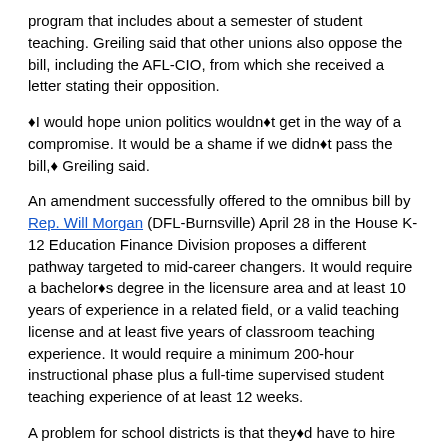program that includes about a semester of student teaching. Greiling said that other unions also oppose the bill, including the AFL-CIO, from which she received a letter stating their opposition.
❖I would hope union politics wouldn❖t get in the way of a compromise. It would be a shame if we didn❖t pass the bill,❖ Greiling said.
An amendment successfully offered to the omnibus bill by Rep. Will Morgan (DFL-Burnsville) April 28 in the House K-12 Education Finance Division proposes a different pathway targeted to mid-career changers. It would require a bachelor❖s degree in the licensure area and at least 10 years of experience in a related field, or a valid teaching license and at least five years of classroom teaching experience. It would require a minimum 200-hour instructional phase plus a full-time supervised student teaching experience of at least 12 weeks.
A problem for school districts is that they❖d have to hire two people, the alternative licensure candidate and a teacher who would be in the classroom with the student teacher to❖